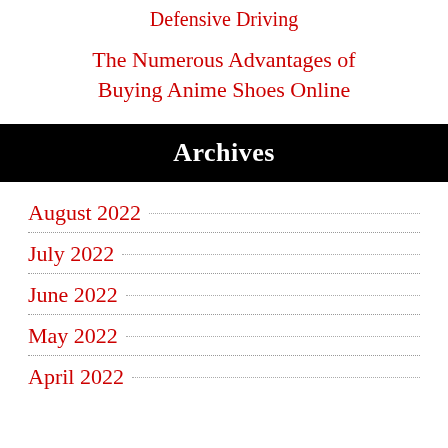Defensive Driving
The Numerous Advantages of Buying Anime Shoes Online
Archives
August 2022
July 2022
June 2022
May 2022
April 2022